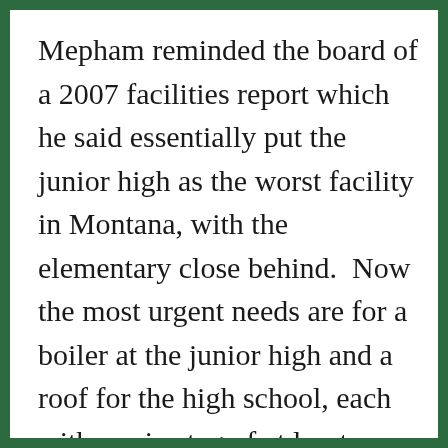Mepham reminded the board of a 2007 facilities report which he said essentially put the junior high as the worst facility in Montana, with the elementary close behind.  Now the most urgent needs are for a boiler at the junior high and a roof for the high school, each with a price tag of at least a quarter of a million dollars. “We’re going to nickel and dime